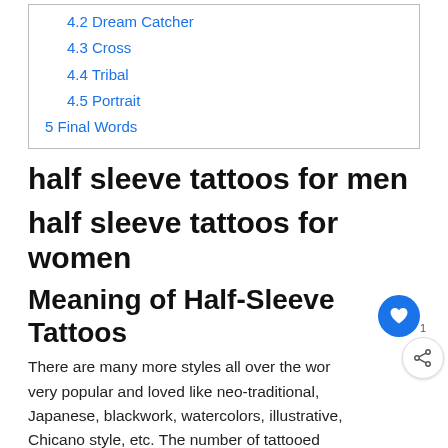4.2 Dream Catcher
4.3 Cross
4.4 Tribal
4.5 Portrait
5 Final Words
half sleeve tattoos for men
half sleeve tattoos for women
Meaning of Half-Sleeve Tattoos
There are many more styles all over the wor very popular and loved like neo-traditional, Japanese, blackwork, watercolors, illustrative, Chicano style, etc. The number of tattooed individuals is increasing in some countries as